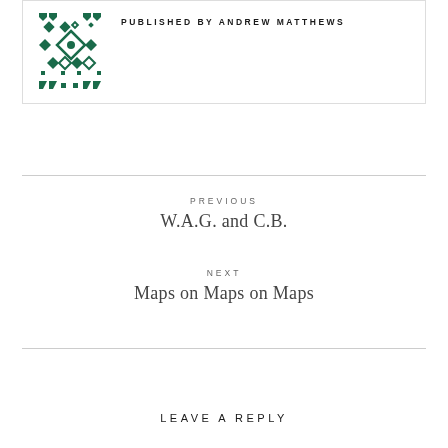[Figure (logo): Green geometric diamond/cross pattern logo]
PUBLISHED BY ANDREW MATTHEWS
PREVIOUS
W.A.G. and C.B.
NEXT
Maps on Maps on Maps
LEAVE A REPLY